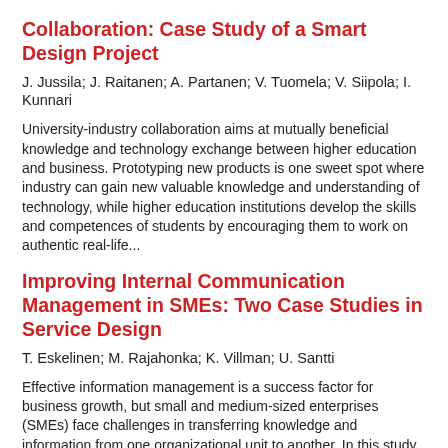Collaboration: Case Study of a Smart Design Project
J. Jussila; J. Raitanen; A. Partanen; V. Tuomela; V. Siipola; I. Kunnari
University-industry collaboration aims at mutually beneficial knowledge and technology exchange between higher education and business. Prototyping new products is one sweet spot where industry can gain new valuable knowledge and understanding of technology, while higher education institutions develop the skills and competences of students by encouraging them to work on authentic real-life...
Improving Internal Communication Management in SMEs: Two Case Studies in Service Design
T. Eskelinen; M. Rajahonka; K. Villman; U. Santti
Effective information management is a success factor for business growth, but small and medium-sized enterprises (SMEs) face challenges in transferring knowledge and information from one organizational unit to another. In this study of two case companies, participative business model development processes were designed to identify challenges and solutions in internal communication management....